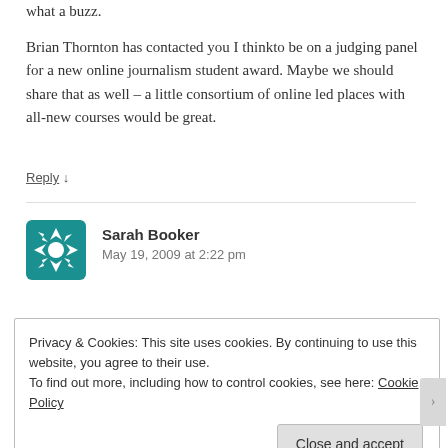what a buzz.
Brian Thornton has contacted you I thinkto be on a judging panel for a new online journalism student award. Maybe we should share that as well – a little consortium of online led places with all-new courses would be great.
Reply ↓
Sarah Booker
May 19, 2009 at 2:22 pm
Privacy & Cookies: This site uses cookies. By continuing to use this website, you agree to their use.
To find out more, including how to control cookies, see here: Cookie Policy
Close and accept